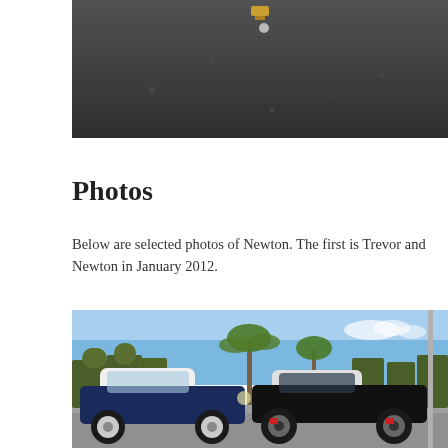[Figure (photo): Top portion of a photo showing dark asphalt/pavement surface viewed from above, with a small gold-colored object visible near the top center.]
Photos
Below are selected photos of Newton.  The first is Trevor and Newton in January 2012.
[Figure (photo): Photo of two MINI Cooper cars parked side by side outdoors. The left car is dark blue with a white roof and white hubcaps. The right car is black with a white roof and dark alloy wheels. Trees and blue sky are visible in the background.]